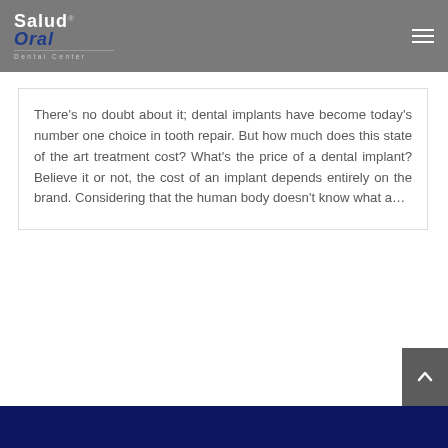Salud Oral Dental Center
There's no doubt about it; dental implants have become today's number one choice in tooth repair. But how much does this state of the art treatment cost? What's the price of a dental implant? Believe it or not, the cost of an implant depends entirely on the brand. Considering that the human body doesn't know what a…